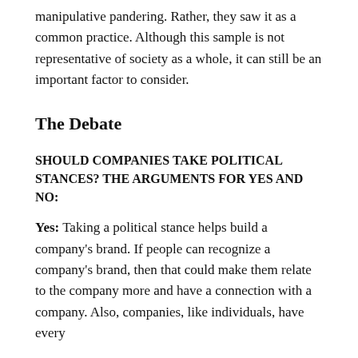manipulative pandering. Rather, they saw it as a common practice. Although this sample is not representative of society as a whole, it can still be an important factor to consider.
The Debate
SHOULD COMPANIES TAKE POLITICAL STANCES? THE ARGUMENTS FOR YES AND NO:
Yes: Taking a political stance helps build a company's brand. If people can recognize a company's brand, then that could make them relate to the company more and have a connection with a company. Also, companies, like individuals, have every